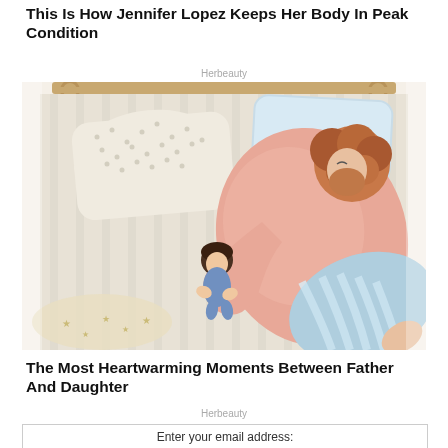This Is How Jennifer Lopez Keeps Her Body In Peak Condition
Herbeauty
[Figure (illustration): Watercolor-style illustration viewed from above of a large man with red curly hair and beard sleeping on a striped bed wearing blue and white striped pants, with a small child tucked against him, pillows visible at the top]
The Most Heartwarming Moments Between Father And Daughter
Herbeauty
Enter your email address: